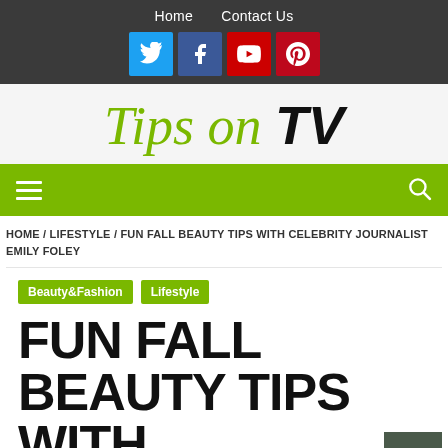Home  Contact Us
[Figure (logo): Social media icons: Twitter, Facebook, YouTube, Pinterest]
[Figure (logo): Tips on TV website logo in italic green and black text]
[Figure (illustration): Green navigation bar with hamburger menu icon on left and search icon on right]
HOME / LIFESTYLE / FUN FALL BEAUTY TIPS WITH CELEBRITY JOURNALIST EMILY FOLEY
Beauty&Fashion
Lifestyle
FUN FALL BEAUTY TIPS WITH